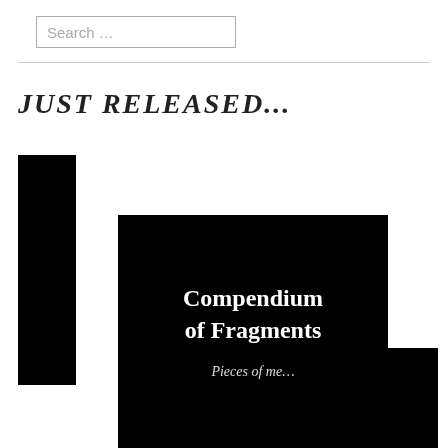Search ...
JUST RELEASED...
[Figure (illustration): Book cover image for 'Compendium of Fragments – Pieces of me...' showing a black background with white serif title text and italic subtitle, along with black geometric blocks forming a stylized book composition.]